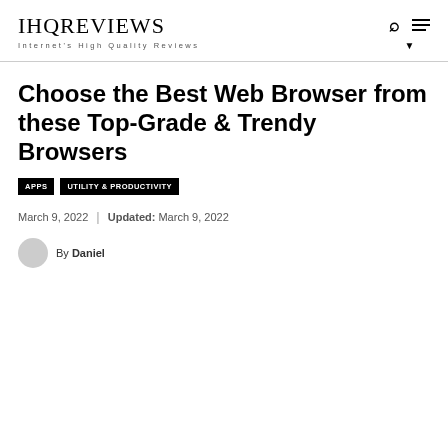IHQREVIEWS Internet's High Quality Reviews
Choose the Best Web Browser from these Top-Grade & Trendy Browsers
APPS   UTILITY & PRODUCTIVITY
March 9, 2022  |  Updated: March 9, 2022
By Daniel